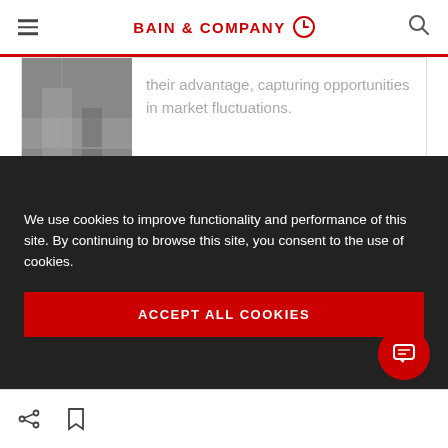BAIN & COMPANY
their advantage, capturing opportunities in market fluctuations.
Recession Strategies
We use cookies to improve functionality and performance of this site. By continuing to browse this site, you consent to the use of cookies.
ACCEPT ALL COOKIES